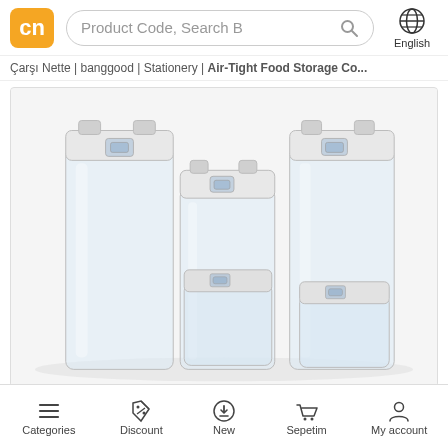[Figure (logo): cn logo in orange rounded square]
Product Code, Search B
[Figure (other): Globe icon with English label]
Çarşı Nette | banggood | Stationery | Air-Tight Food Storage Co...
[Figure (photo): Air-tight food storage containers — three transparent plastic containers with white locking lids, different heights, on white background]
Categories
Discount
New
Sepetim
My account